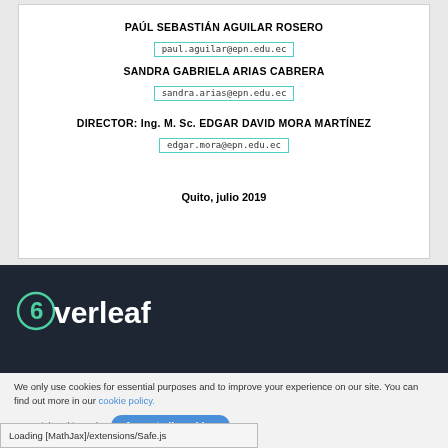PAÚL SEBASTIÁN AGUILAR ROSERO
paul.aguilar@epn.edu.ec
SANDRA GABRIELA ARIAS CABRERA
sandra.arias@epn.edu.ec
DIRECTOR: Ing. M. Sc. EDGAR DAVID MORA MARTÍNEZ
edgar.mora@epn.edu.ec
Quito, julio 2019
[Figure (logo): Overleaf logo on dark background]
We only use cookies for essential purposes and to improve your experience on our site. You can find out more in our cookie policy.
Loading [MathJax]/extensions/Safe.js